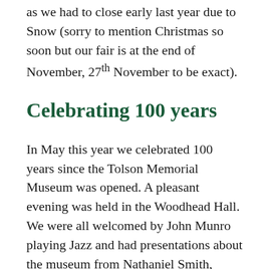as we had to close early last year due to Snow (sorry to mention Christmas so soon but our fair is at the end of November, 27th November to be exact).
Celebrating 100 years
In May this year we celebrated 100 years since the Tolson Memorial Museum was opened. A pleasant evening was held in the Woodhead Hall. We were all welcomed by John Munro playing Jazz and had presentations about the museum from Nathaniel Smith, Head of Service – Deborah Marsland and Ann Denham. Guests included several members of the Tolson Family